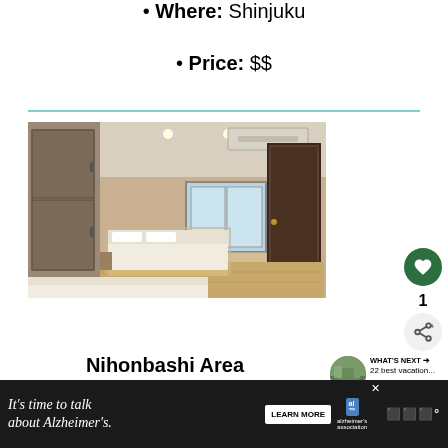• Where: Shinjuku
• Price: $$
[Figure (photo): Interior photo of a small Japanese apartment room with two beds, wood flooring, a window, air conditioning unit, and neutral beige walls]
1
Nihonbashi Area
WHAT'S NEXT → 22 best vacation...
[Figure (photo): Small thumbnail of a nature/vacation scene]
It's time to talk about Alzheimer's. LEARN MORE